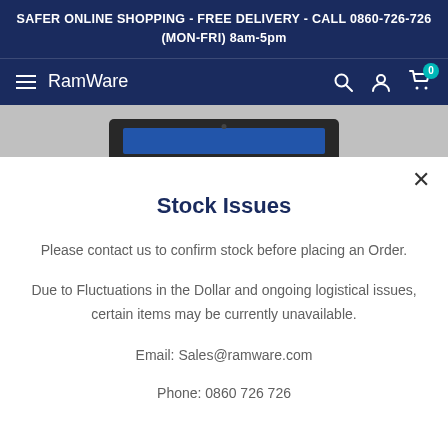SAFER ONLINE SHOPPING - FREE DELIVERY - CALL 0860-726-726 (MON-FRI) 8am-5pm
RamWare
[Figure (screenshot): Partial laptop image visible at top of product page]
Stock Issues
Please contact us to confirm stock before placing an Order.
Due to Fluctuations in the Dollar and ongoing logistical issues, certain items may be currently unavailable.
Email: Sales@ramware.com
Phone: 0860 726 726